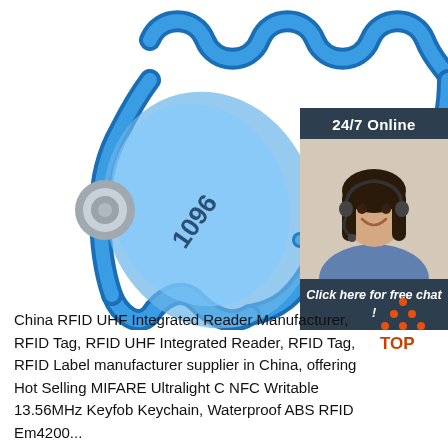[Figure (photo): Blue RFID silicone wristband with coiled antenna and metal chip, numbered 1096, shown on white background. Inset in top-right: dark-themed sidebar widget with '24/7 Online' header, photo of smiling female customer service agent with headset, 'Click here for free chat!' text, and orange 'QUOTATION' button.]
China RFID UHF Integrated Reader Manufacturer, RFID Tag, RFID UHF Integrated Reader, RFID Tag, RFID Label manufacturer supplier in China, offering Hot Selling MIFARE Ultralight C NFC Writable 13.56MHz Keyfob Keychain, Waterproof ABS RFID Em4200...